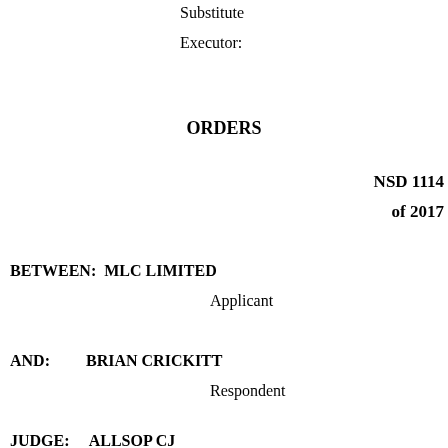Substitute
Executor:
ORDERS
NSD 1114
of 2017
BETWEEN: MLC LIMITED
Applicant
AND: BRIAN CRICKITT
Respondent
JUDGE: ALLSOP CJ
DATE OF 3 AUGUST 2017